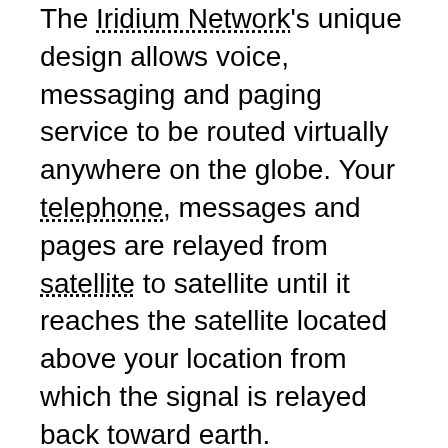The Iridium Network's unique design allows voice, messaging and paging service to be routed virtually anywhere on the globe. Your telephone, messages and pages are relayed from satellite to satellite until it reaches the satellite located above your location from which the signal is relayed back toward earth.
Iridium is a true global satellite solution providing voice and data solutions with true global coverage. Including airways, land, maritime as well as the polar regions. Iridium's coverage and wide range of solutions offers itself as ideal solution for aviation, emergency services, forestry, government, humanitarian,